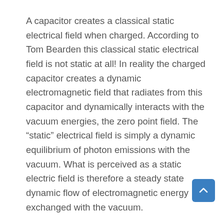A capacitor creates a classical static electrical field when charged. According to Tom Bearden this classical static electrical field is not static at all! In reality the charged capacitor creates a dynamic electromagnetic field that radiates from this capacitor and dynamically interacts with the vacuum energies, the zero point field. The “static” electrical field is simply a dynamic equilibrium of photon emissions with the vacuum. What is perceived as a static electric field is therefore a steady state dynamic flow of electromagnetic energy exchanged with the vacuum.
Daniel Winter takes Bearden’s interpretation of charge as a dynamic electromagnetic interaction with the zero point field of the vacuum even further. Winter adds the